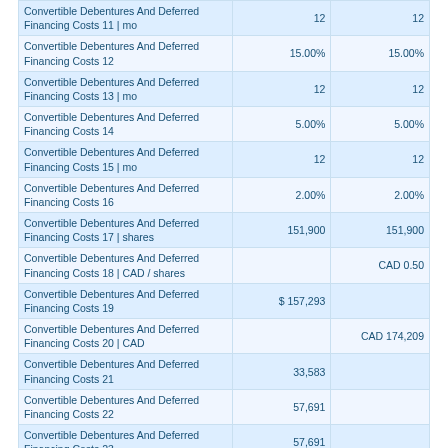|  | Column 1 | Column 2 |
| --- | --- | --- |
| Convertible Debentures And Deferred Financing Costs 11 | mo | 12 | 12 |
| Convertible Debentures And Deferred Financing Costs 12 | 15.00% | 15.00% |
| Convertible Debentures And Deferred Financing Costs 13 | mo | 12 | 12 |
| Convertible Debentures And Deferred Financing Costs 14 | 5.00% | 5.00% |
| Convertible Debentures And Deferred Financing Costs 15 | mo | 12 | 12 |
| Convertible Debentures And Deferred Financing Costs 16 | 2.00% | 2.00% |
| Convertible Debentures And Deferred Financing Costs 17 | shares | 151,900 | 151,900 |
| Convertible Debentures And Deferred Financing Costs 18 | CAD / shares |  | CAD 0.50 |
| Convertible Debentures And Deferred Financing Costs 19 | $ 157,293 |  |
| Convertible Debentures And Deferred Financing Costs 20 | CAD |  | CAD 174,209 |
| Convertible Debentures And Deferred Financing Costs 21 | 33,583 |  |
| Convertible Debentures And Deferred Financing Costs 22 | 57,691 |  |
| Convertible Debentures And Deferred Financing Costs 23 | 57,691 |  |
| Convertible Debentures And Deferred Financing Costs 24 | 41,843 |  |
| Convertible Debentures And Deferred Financing Costs 25 | $ 15,848 |  |